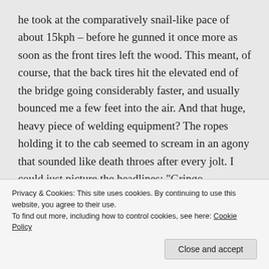he took at the comparatively snail-like pace of about 15kph – before he gunned it once more as soon as the front tires left the wood. This meant, of course, that the back tires hit the elevated end of the bridge going considerably faster, and usually bounced me a few feet into the air. And that huge, heavy piece of welding equipment? The ropes holding it to the cab seemed to scream in an agony that sounded like death throes after every jolt. I could just picture the headlines: “Gringo hitchhiker with his whole life ahead of him crushed by giant welding
Privacy & Cookies: This site uses cookies. By continuing to use this website, you agree to their use.
To find out more, including how to control cookies, see here: Cookie Policy
Close and accept